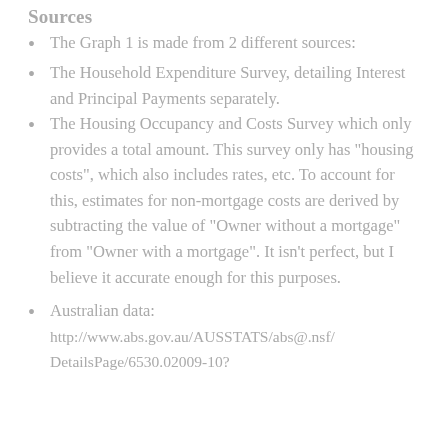Sources
The Graph 1 is made from 2 different sources:
The Household Expenditure Survey, detailing Interest and Principal Payments separately.
The Housing Occupancy and Costs Survey which only provides a total amount. This survey only has "housing costs", which also includes rates, etc. To account for this, estimates for non-mortgage costs are derived by subtracting the value of "Owner without a mortgage" from "Owner with a mortgage". It isn't perfect, but I believe it accurate enough for this purposes.
Australian data: http://www.abs.gov.au/AUSSTATS/abs@.nsf/DetailsPage/6530.02009-10?